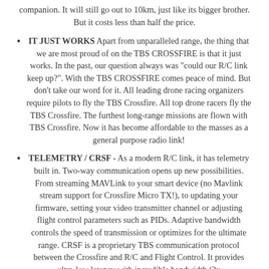companion. It will still go out to 10km, just like its bigger brother. But it costs less than half the price.
IT JUST WORKS Apart from unparalleled range, the thing that we are most proud of on the TBS CROSSFIRE is that it just works. In the past, our question always was "could our R/C link keep up?". With the TBS CROSSFIRE comes peace of mind. But don't take our word for it. All leading drone racing organizers require pilots to fly the TBS Crossfire. All top drone racers fly the TBS Crossfire. The furthest long-range missions are flown with TBS Crossfire. Now it has become affordable to the masses as a general purpose radio link!
TELEMETRY / CRSF - As a modern R/C link, it has telemetry built in. Two-way communication opens up new possibilities. From streaming MAVLink to your smart device (no Mavlink stream support for Crossfire Micro TX!), to updating your firmware, setting your video transmitter channel or adjusting flight control parameters such as PIDs. Adaptive bandwidth controls the speed of transmission or optimizes for the ultimate range. CRSF is a proprietary TBS communication protocol between the Crossfire and R/C and Flight Control. It provides ultra-low latency with incredible bandwidth (3x